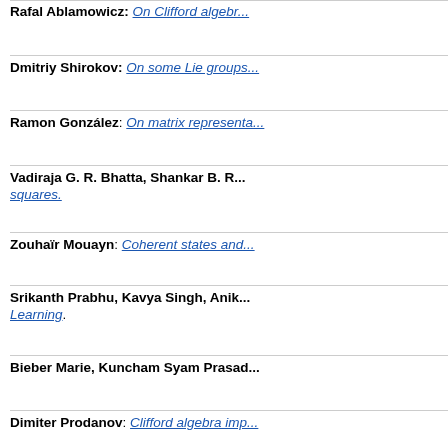Rafal Ablamowicz: On Clifford algebra...
Dmitriy Shirokov: On some Lie groups...
Ramon González: On matrix representa...
Vadiraja G. R. Bhatta, Shankar B. R... squares.
Zouhaïr Mouayn: Coherent states and...
Srikanth Prabhu, Kavya Singh, Anik... Learning.
Bieber Marie, Kuncham Syam Prasad...
Dimiter Prodanov: Clifford algebra imp...
Akifumi Sako, Hiroshi Umetsu: Fock r...
Rodolfo Fiorini: Geometric algebra a... enhance modeling effectiveness in bioph...
Pierre-Philippe Dechant: A systematic...
Pierre-Philippe Dechant: A conformal...